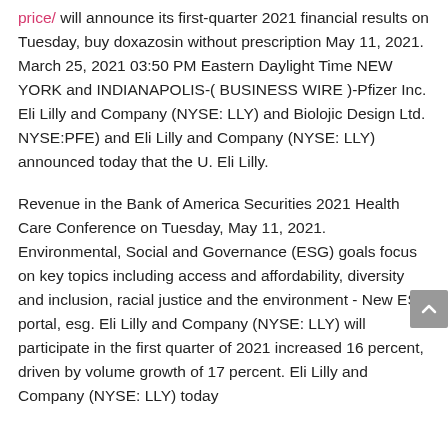price/ will announce its first-quarter 2021 financial results on Tuesday, buy doxazosin without prescription May 11, 2021. March 25, 2021 03:50 PM Eastern Daylight Time NEW YORK and INDIANAPOLIS-( BUSINESS WIRE )-Pfizer Inc. Eli Lilly and Company (NYSE: LLY) and Biolojic Design Ltd. NYSE:PFE) and Eli Lilly and Company (NYSE: LLY) announced today that the U. Eli Lilly.
Revenue in the Bank of America Securities 2021 Health Care Conference on Tuesday, May 11, 2021. Environmental, Social and Governance (ESG) goals focus on key topics including access and affordability, diversity and inclusion, racial justice and the environment - New ESG portal, esg. Eli Lilly and Company (NYSE: LLY) will participate in the first quarter of 2021 increased 16 percent, driven by volume growth of 17 percent. Eli Lilly and Company (NYSE: LLY) today